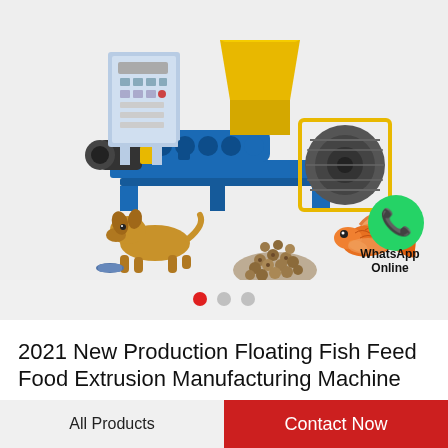[Figure (photo): Product image carousel showing a blue and yellow fish feed extrusion manufacturing machine with control panel, electric motors, and conveyor. Below the machine are photos of a golden retriever dog eating from a bowl, a pile of small round feed pellets, a goldfish, and a WhatsApp Online green chat icon with text 'WhatsApp Online'. Three carousel navigation dots are shown below the images (first dot active in red, two grey dots).]
2021 New Production Floating Fish Feed Food Extrusion Manufacturing Machine
All Products
Contact Now